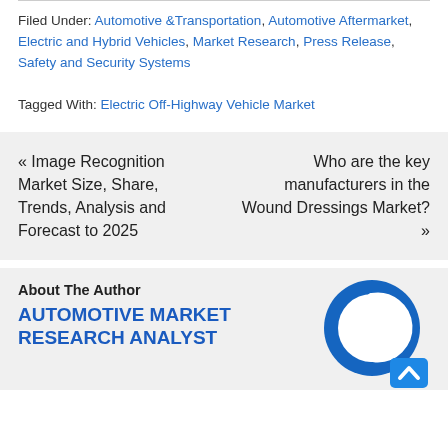Filed Under: Automotive &Transportation, Automotive Aftermarket, Electric and Hybrid Vehicles, Market Research, Press Release, Safety and Security Systems
Tagged With: Electric Off-Highway Vehicle Market
« Image Recognition Market Size, Share, Trends, Analysis and Forecast to 2025
Who are the key manufacturers in the Wound Dressings Market? »
About The Author
AUTOMOTIVE MARKET RESEARCH ANALYST